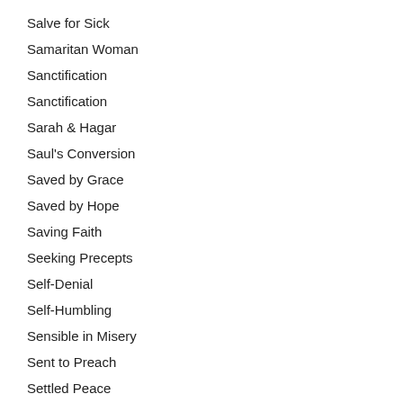Salve for Sick
Samaritan Woman
Sanctification
Sanctification
Sarah & Hagar
Saul's Conversion
Saved by Grace
Saved by Hope
Saving Faith
Seeking Precepts
Self-Denial
Self-Humbling
Sensible in Misery
Sent to Preach
Settled Peace